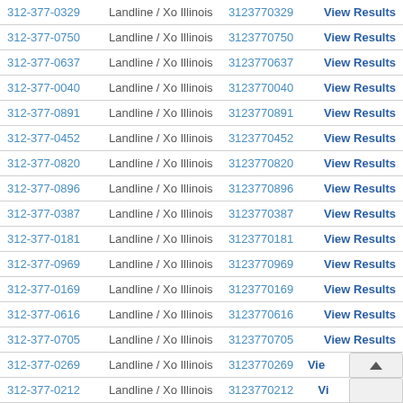| Phone | Type | Number | Action |
| --- | --- | --- | --- |
| 312-377-0329 | Landline / Xo Illinois | 3123770329 | View Results |
| 312-377-0750 | Landline / Xo Illinois | 3123770750 | View Results |
| 312-377-0637 | Landline / Xo Illinois | 3123770637 | View Results |
| 312-377-0040 | Landline / Xo Illinois | 3123770040 | View Results |
| 312-377-0891 | Landline / Xo Illinois | 3123770891 | View Results |
| 312-377-0452 | Landline / Xo Illinois | 3123770452 | View Results |
| 312-377-0820 | Landline / Xo Illinois | 3123770820 | View Results |
| 312-377-0896 | Landline / Xo Illinois | 3123770896 | View Results |
| 312-377-0387 | Landline / Xo Illinois | 3123770387 | View Results |
| 312-377-0181 | Landline / Xo Illinois | 3123770181 | View Results |
| 312-377-0969 | Landline / Xo Illinois | 3123770969 | View Results |
| 312-377-0169 | Landline / Xo Illinois | 3123770169 | View Results |
| 312-377-0616 | Landline / Xo Illinois | 3123770616 | View Results |
| 312-377-0705 | Landline / Xo Illinois | 3123770705 | View Results |
| 312-377-0269 | Landline / Xo Illinois | 3123770269 | View Results |
| 312-377-0212 | Landline / Xo Illinois | 3123770212 | View Results |
| 312-377-0744 | Landline / Xo Illinois | 3123770744 | View Results |
| 312-377-0941 | Landline / Xo Illinois | 3123770941 | View Results |